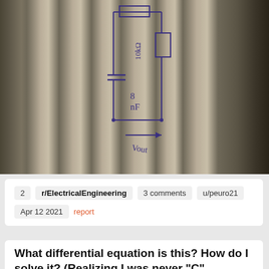[Figure (circuit-diagram): Hand-drawn circuit diagram on paper showing a circuit with components labeled '10kΩ' (resistor), '8nF' (capacitor), and 'Vout' (output voltage arrow)]
2   r/ElectricalEngineering   3 comments   u/peuro21
Apr 12 2021   report
What differential equation is this? How do I solve it? (Realizing I was never "C" student...